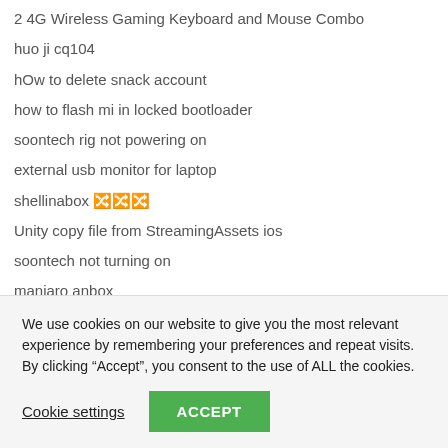2 4G Wireless Gaming Keyboard and Mouse Combo
huo ji cq104
hOw to delete snack account
how to flash mi in locked bootloader
soontech rig not powering on
external usb monitor for laptop
shellinabox 한국어
Unity copy file from StreamingAssets ios
soontech not turning on
manjaro anbox
1 To 1 Hosting
1&1 Hosting
We use cookies on our website to give you the most relevant experience by remembering your preferences and repeat visits. By clicking "Accept", you consent to the use of ALL the cookies.
Cookie settings | ACCEPT